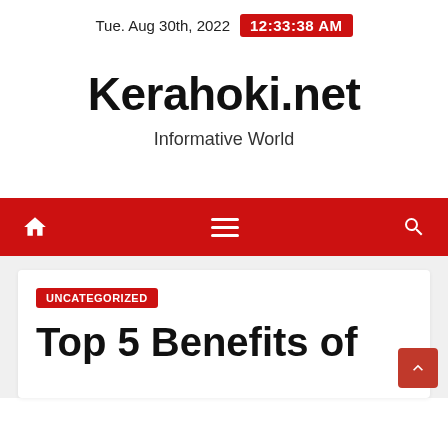Tue. Aug 30th, 2022  12:33:38 AM
Kerahoki.net
Informative World
[Figure (screenshot): Red navigation bar with home icon, hamburger menu icon, and search icon]
UNCATEGORIZED
Top 5 Benefits of